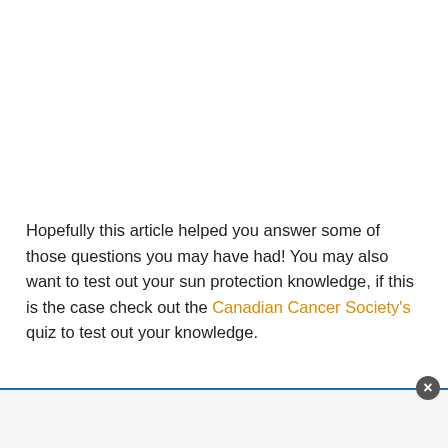Hopefully this article helped you answer some of those questions you may have had! You may also want to test out your sun protection knowledge, if this is the case check out the Canadian Cancer Society's quiz to test out your knowledge.